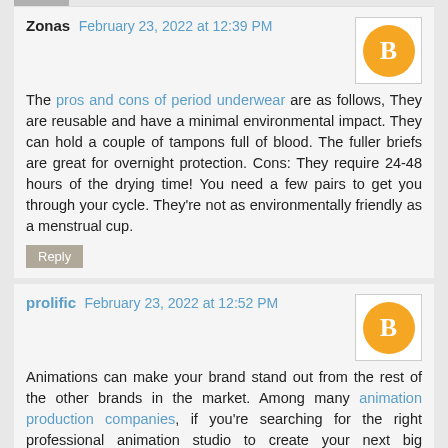Zonas February 23, 2022 at 12:39 PM
The pros and cons of period underwear are as follows, They are reusable and have a minimal environmental impact. They can hold a couple of tampons full of blood. The fuller briefs are great for overnight protection. Cons: They require 24-48 hours of the drying time! You need a few pairs to get you through your cycle. They're not as environmentally friendly as a menstrual cup.
Reply
prolific February 23, 2022 at 12:52 PM
Animations can make your brand stand out from the rest of the other brands in the market. Among many animation production companies, if you're searching for the right professional animation studio to create your next big animation, look no further than our very own Prolific Studio animation experts. We create